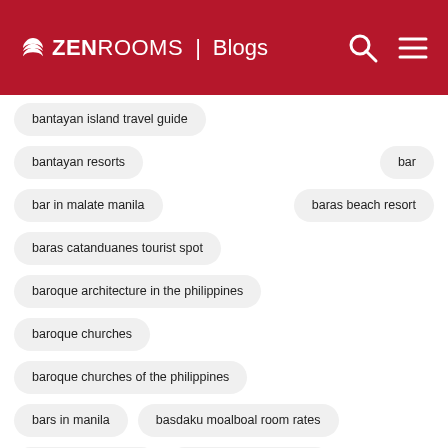ZEN ROOMS | Blogs
bantayan island travel guide
bantayan resorts
bar
bar in malate manila
baras beach resort
baras catanduanes tourist spot
baroque architecture in the philippines
baroque churches
baroque churches of the philippines
bars in manila
basdaku moalboal room rates
basic korean words
basilica de santa maria